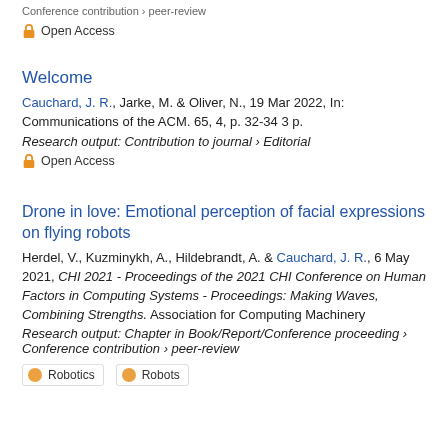Conference contribution › peer-review
Open Access
Welcome
Cauchard, J. R., Jarke, M. & Oliver, N., 19 Mar 2022, In: Communications of the ACM. 65, 4, p. 32-34 3 p.
Research output: Contribution to journal › Editorial
Open Access
Drone in love: Emotional perception of facial expressions on flying robots
Herdel, V., Kuzminykh, A., Hildebrandt, A. & Cauchard, J. R., 6 May 2021, CHI 2021 - Proceedings of the 2021 CHI Conference on Human Factors in Computing Systems - Proceedings: Making Waves, Combining Strengths. Association for Computing Machinery
Research output: Chapter in Book/Report/Conference proceeding › Conference contribution › peer-review
Robotics | Robots